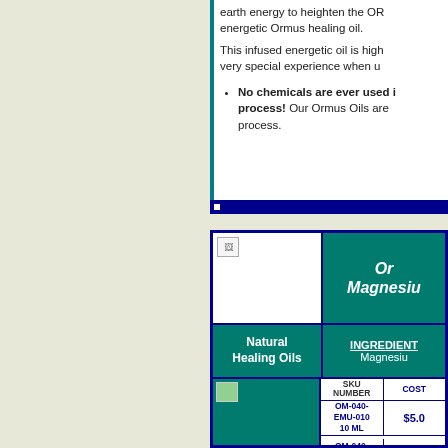earth energy to heighten the OR energetic Ormus healing oil.

This infused energetic oil is high very special experience when u
No chemicals are ever used in the process! Our Ormus Oils are process.
| Image | Product Name |
| --- | --- |
| [image] | Or Magnesiu |
| Natural Healing Oils | INGREDIENTS Magnesiu |
| SKU NUMBER | COST |
| --- | --- |
| OM-040-EMU-010 10 ML | $5.0 |
| OM-040-EMU-030 | $7.5 |